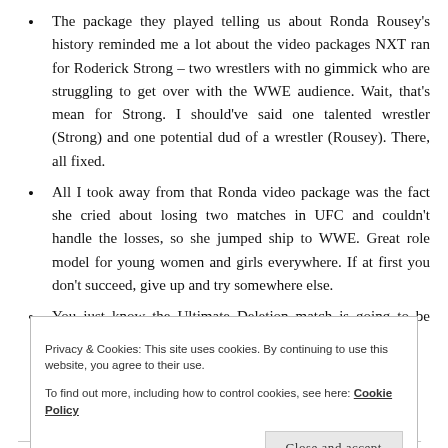The package they played telling us about Ronda Rousey's history reminded me a lot about the video packages NXT ran for Roderick Strong – two wrestlers with no gimmick who are struggling to get over with the WWE audience. Wait, that's mean for Strong. I should've said one talented wrestler (Strong) and one potential dud of a wrestler (Rousey). There, all fixed.
All I took away from that Ronda video package was the fact she cried about losing two matches in UFC and couldn't handle the losses, so she jumped ship to WWE. Great role model for young women and girls everywhere. If at first you don't succeed, give up and try somewhere else.
You just know the Ultimate Deletion match is going to be horrible
Privacy & Cookies: This site uses cookies. By continuing to use this website, you agree to their use. To find out more, including how to control cookies, see here: Cookie Policy